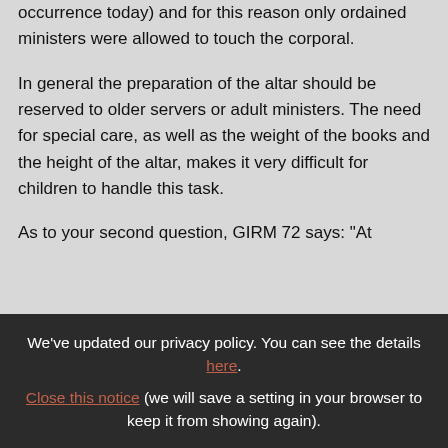occurrence today) and for this reason only ordained ministers were allowed to touch the corporal.
In general the preparation of the altar should be reserved to older servers or adult ministers. The need for special care, as well as the weight of the books and the height of the altar, makes it very difficult for children to handle this task.
As to your second question, GIRM 72 says: "At
We've updated our privacy policy. You can see the details here.
Close this notice (we will save a setting in your browser to keep it from showing again).